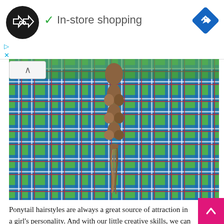[Figure (logo): Black circular logo with infinite loop / double arrow symbol in white, plus blue diamond navigation arrow icon on right, forming an in-store shopping advertisement banner with green checkmark and text 'In-store shopping']
[Figure (photo): Back view of a child wearing a green, blue, and red plaid shirt with a braided ponytail hairstyle hanging down the back]
Ponytail hairstyles are always a great source of attraction in a girl's personality. And with our little creative skills, we can add style and beauty to a simple ponytails hairstyle idea. This fascinating hairstyle